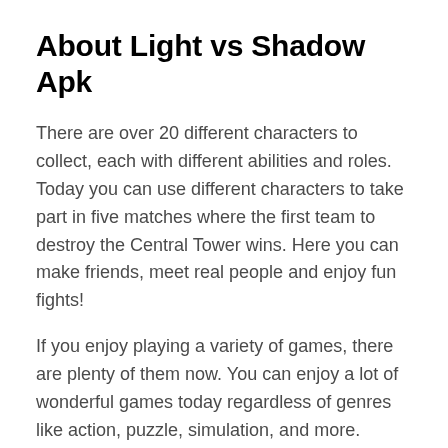About Light vs Shadow Apk
There are over 20 different characters to collect, each with different abilities and roles. Today you can use different characters to take part in five matches where the first team to destroy the Central Tower wins. Here you can make friends, meet real people and enjoy fun fights!
If you enjoy playing a variety of games, there are plenty of them now. You can enjoy a lot of wonderful games today regardless of genres like action, puzzle, simulation, and more.
You can find and enjoy the best games on your phone today as most of them are free. You can also enjoy MOBA games where you can play with real people. Light vs Shadow Apk lets you enjoy anime-inspired MOBA!
If you are fed up with mobile legends, it is time to play a